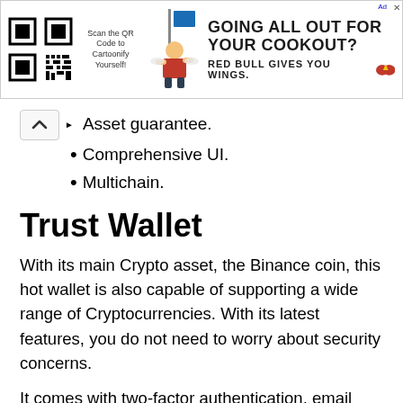[Figure (screenshot): Red Bull advertisement banner with QR code, animated character, and text 'GOING ALL OUT FOR YOUR COOKOUT? RED BULL GIVES YOU WINGS.']
Asset guarantee.
Comprehensive UI.
Multichain.
Trust Wallet
With its main Crypto asset, the Binance coin, this hot wallet is also capable of supporting a wide range of Cryptocurrencies. With its latest features, you do not need to worry about security concerns.
It comes with two-factor authentication, email or SMS verification, and also Google Authentication. In short, it is one of the m…